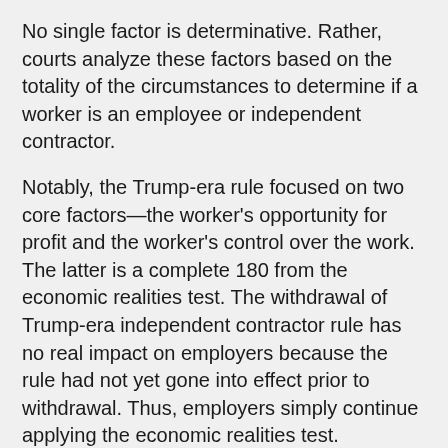No single factor is determinative. Rather, courts analyze these factors based on the totality of the circumstances to determine if a worker is an employee or independent contractor.
Notably, the Trump-era rule focused on two core factors—the worker's opportunity for profit and the worker's control over the work. The latter is a complete 180 from the economic realities test. The withdrawal of Trump-era independent contractor rule has no real impact on employers because the rule had not yet gone into effect prior to withdrawal. Thus, employers simply continue applying the economic realities test.
[Figure (screenshot): Bloomberg Law video thumbnail showing 'Gig Economy Workers, App-Based C...' with Bloomberg Law channel icon (teal circle) and a dark background with a lamp/play icon silhouette.]